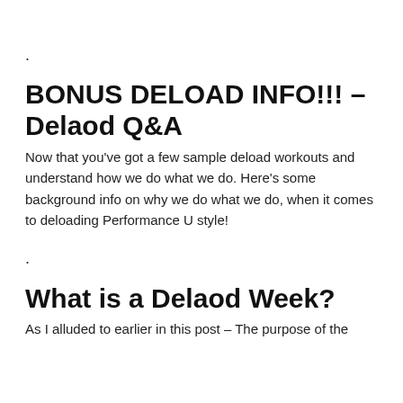.
BONUS DELOAD INFO!!! – Delaod Q&A
Now that you've got a few sample deload workouts and understand how we do what we do. Here's some background info on why we do what we do, when it comes to deloading Performance U style!
.
What is a Delaod Week?
As I alluded to earlier in this post – The purpose of the